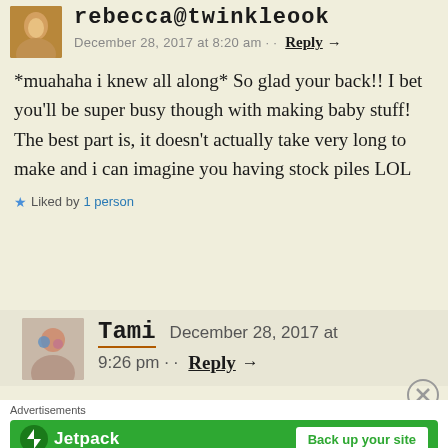December 28, 2017 at 8:20 am · · Reply →
*muahaha i knew all along* So glad your back!! I bet you'll be super busy though with making baby stuff! The best part is, it doesn't actually take very long to make and i can imagine you having stock piles LOL
★ Liked by 1 person
Tami December 28, 2017 at 9:26 pm · · Reply →
Advertisements
[Figure (infographic): Jetpack advertisement banner with green background, Jetpack logo and 'Back up your site' button]